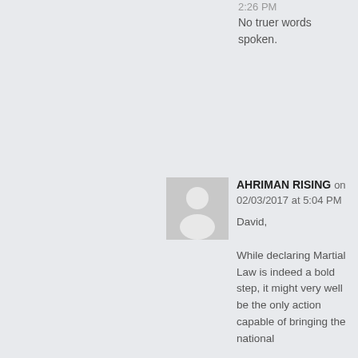2:26 PM
No truer words spoken.
[Figure (illustration): Default user avatar placeholder — grey square with white silhouette of a person]
AHRIMAN RISING on 02/03/2017 at 5:04 PM
David,
While declaring Martial Law is indeed a bold step, it might very well be the only action capable of bringing the national